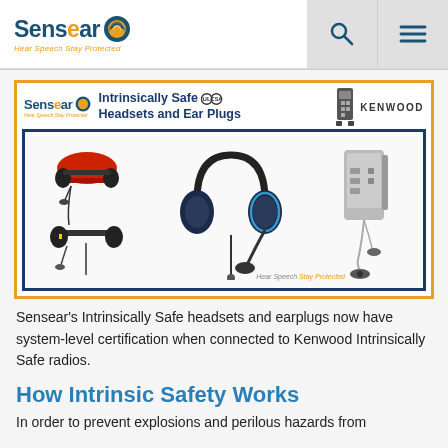[Figure (logo): Sensear logo with tagline 'Hear Speech Stay Protected' and navigation icons (search, hamburger menu)]
[Figure (photo): Sensear Intrinsically Safe Headsets and Ear Plugs banner with Kenwood branding and product photos of various headsets and a radio accessory]
Sensear's Intrinsically Safe headsets and earplugs now have system-level certification when connected to Kenwood Intrinsically Safe radios.
How Intrinsic Safety Works
In order to prevent explosions and perilous hazards from